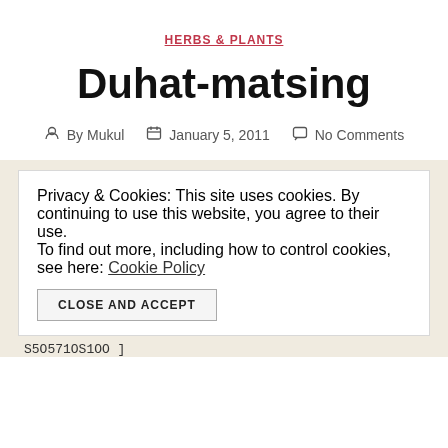HERBS & PLANTS
Duhat-matsing
By Mukul   January 5, 2011   No Comments
Privacy & Cookies: This site uses cookies. By continuing to use this website, you agree to their use. To find out more, including how to control cookies, see here: Cookie Policy
CLOSE AND ACCEPT
S5O571OS1OO ]